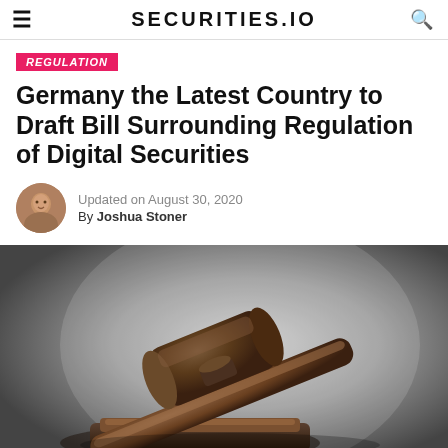SECURITIES.IO
REGULATION
Germany the Latest Country to Draft Bill Surrounding Regulation of Digital Securities
Updated on August 30, 2020
By Joshua Stoner
[Figure (photo): A wooden judge's gavel resting on its sound block against a grey gradient background, symbolizing legal regulation.]